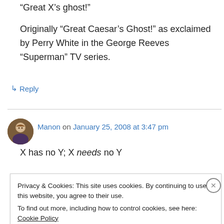“Great X’s ghost!”

Originally “Great Caesar’s Ghost!” as exclaimed by Perry White in the George Reeves “Superman” TV series.
↳ Reply
Manon on January 25, 2008 at 3:47 pm
X has no Y; X needs no Y
Privacy & Cookies: This site uses cookies. By continuing to use this website, you agree to their use.
To find out more, including how to control cookies, see here: Cookie Policy
Close and accept